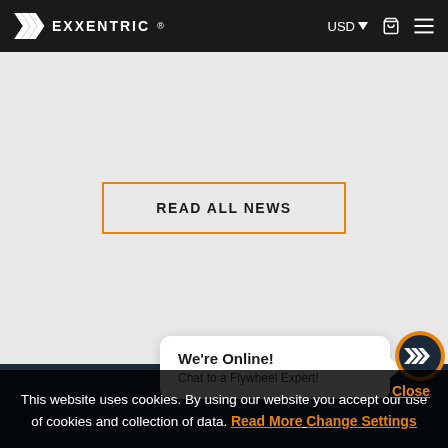EXXENTRIC ® | USD ▼ 🛒 ☰
READ ALL NEWS
We're Online!
Chat to a Flywheel Expert!
This website uses cookies. By using our website you accept our use of cookies and collection of data. Read More Change Settings
Close